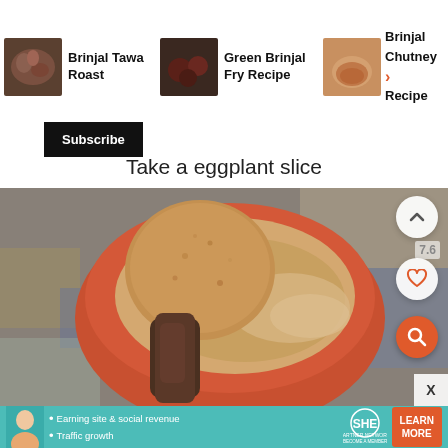[Figure (screenshot): Top navigation bar showing three recipe thumbnails: Brinjal Tawa Roast, Green Brinjal Fry Recipe, Brinjal Chutney Recipe with a right arrow]
[Figure (photo): Subscribe button in black on white background]
Take a eggplant slice
[Figure (photo): Hand holding an eggplant slice dipped into a terracotta orange bowl filled with a light brown batter mixture, on a colorful surface]
[Figure (screenshot): Advertisement banner in teal color for SHE Partner Network featuring a woman, text about earning site & social revenue and traffic growth, and a Learn More button]